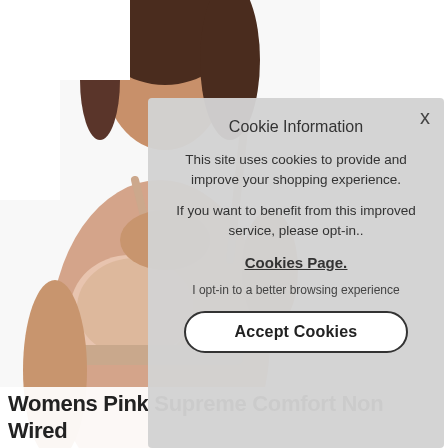[Figure (photo): Woman wearing a light pink/nude non-wired bra, photographed from approximately the chest up with white background, product photo for lingerie retail.]
Cookie Information
This site uses cookies to provide and improve your shopping experience.
If you want to benefit from this improved service, please opt-in..
Cookies Page.
I opt-in to a better browsing experience
Accept Cookies
Womens Pink Supreme Comfort Non Wired